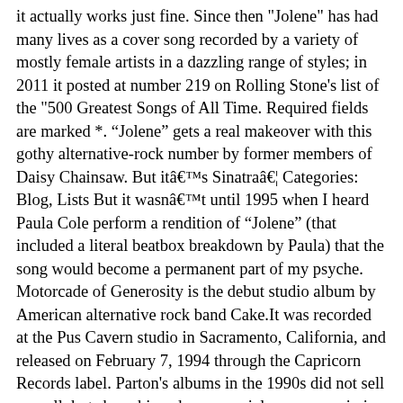it actually works just fine. Since then "Jolene" has had many lives as a cover song recorded by a variety of mostly female artists in a dazzling range of styles; in 2011 it posted at number 219 on Rolling Stone's list of the "500 Greatest Songs of All Time. Required fields are marked *. “Jolene” gets a real makeover with this gothy alternative-rock number by former members of Daisy Chainsaw. But itâs Sinatraâ¦ Categories: Blog, Lists But it wasnât until 1995 when I heard Paula Cole perform a rendition of “Jolene” (that included a literal beatbox breakdown by Paula) that the song would become a permanent part of my psyche. Motorcade of Generosity is the debut studio album by American alternative rock band Cake.It was recorded at the Pus Cavern studio in Sacramento, California, and released on February 7, 1994 through the Capricorn Records label. Parton's albums in the 1990s did not sell as well, but she achieved commercial success again in the new millennium and has released albums on various independent labels since 2000, including her own label, Dolly Records. Throw this danceable version on after Olivia Newton Johnâs version, toss glitter into the air and parade around your living room in heels. Olivia Newton John hits the high notes like a Broadway star while quite literally skipping around the stage, hamming it up. When she breathily croons, âyou could have your choice of men, but I could never love again,â the pain that lurks beneath the spry playfulness of the original is felt. Jolene, Jolene, Jolene-Jolene! Her hair is a spectacle unto itself in this.